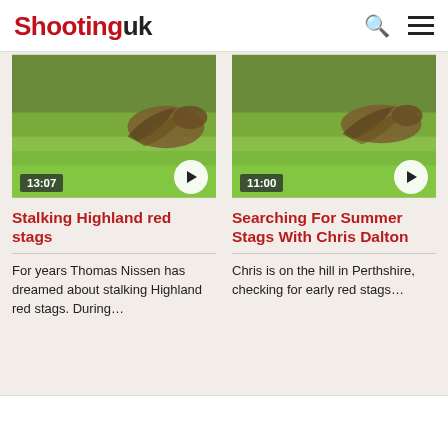Shooting uk
[Figure (photo): Video thumbnail showing a bird on grass, duration 13:07, with play button overlay]
Stalking Highland red stags
For years Thomas Nissen has dreamed about stalking Highland red stags. During…
[Figure (photo): Video thumbnail showing a bird on grass, duration 11:00, with play button overlay]
Searching For Summer Stags With Chris Dalton
Chris is on the hill in Perthshire, checking for early red stags…